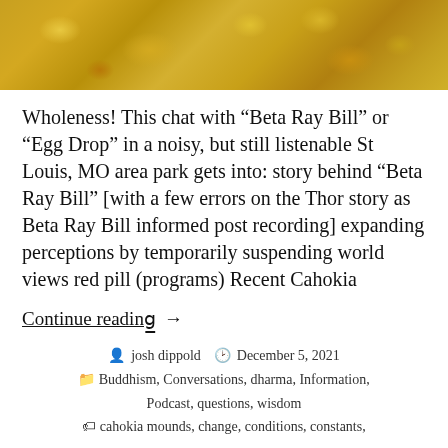[Figure (photo): Golden-colored textured surface, appearing to be a close-up photo of an ornate golden object or material, cropped at top of page]
Wholeness! This chat with “Beta Ray Bill” or “Egg Drop” in a noisy, but still listenable St Louis, MO area park gets into: story behind “Beta Ray Bill” [with a few errors on the Thor story as Beta Ray Bill informed post recording] expanding perceptions by temporarily suspending world views red pill (programs) Recent Cahokia
Continue reading →
josh dippold   December 5, 2021
Buddhism, Conversations, dharma, Information, Podcast, questions, wisdom
cahokia mounds, change, conditions, constants,